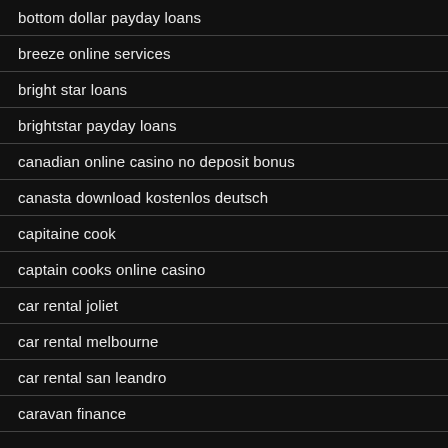bottom dollar payday loans
breeze online services
bright star loans
brightstar payday loans
canadian online casino no deposit bonus
canasta download kostenlos deutsch
capitaine cook
captain cooks online casino
car rental joliet
car rental melbourne
car rental san leandro
caravan finance